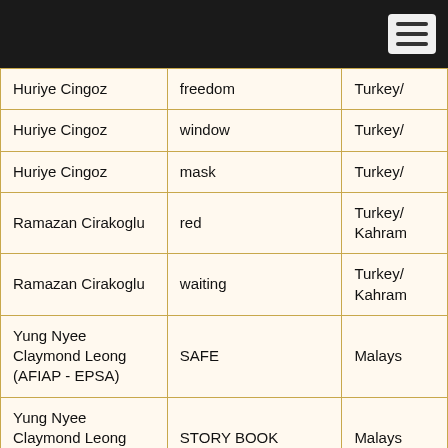| Name | Title | Country |
| --- | --- | --- |
| Huriye Cingoz | freedom | Turkey/... |
| Huriye Cingoz | window | Turkey/... |
| Huriye Cingoz | mask | Turkey/... |
| Ramazan Cirakoglu | red | Turkey/
Kahram... |
| Ramazan Cirakoglu | waiting | Turkey/
Kahram... |
| Yung Nyee Claymond Leong (AFIAP - EPSA) | SAFE | Malays... |
| Yung Nyee Claymond Leong (AFIAP - EPSA) | STORY BOOK | Malays... |
| Yung Nyee Claymond Leong (AFIAP - EPSA) | TOMORROW WILL BE BETTER | Malays... |